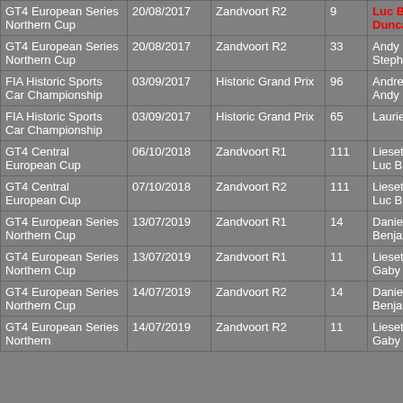| Championship | Date | Circuit | No. | Drivers | Team |
| --- | --- | --- | --- | --- | --- |
| GT4 European Series Northern Cup | 20/08/2017 | Zandvoort R2 | 9 | Luc Braams
Duncan Huisman | Las Moras (Equipe Verschuur) |
| GT4 European Series Northern Cup | 20/08/2017 | Zandvoort R2 | 33 | Andy Meyrick
Stephen Pattrick | Bullitt Raci... |
| FIA Historic Sports Car Championship | 03/09/2017 | Historic Grand Prix | 96 | Andrew Beaumont
Andy Middlehurst |  |
| FIA Historic Sports Car Championship | 03/09/2017 | Historic Grand Prix | 65 | Laurie Bennett |  |
| GT4 Central European Cup | 06/10/2018 | Zandvoort R1 | 111 | Liesette Braams
Luc Braams | Equipe Vers... |
| GT4 Central European Cup | 07/10/2018 | Zandvoort R2 | 111 | Liesette Braams
Luc Braams | Equipe Vers... |
| GT4 European Series Northern Cup | 13/07/2019 | Zandvoort R1 | 14 | Daniel McKay
Benjamin Lessennes | Equipe Vers... |
| GT4 European Series Northern Cup | 13/07/2019 | Zandvoort R1 | 11 | Liesette Braams
Gaby Uljee | Las Moras (Equipe Verschuur) |
| GT4 European Series Northern Cup | 14/07/2019 | Zandvoort R2 | 14 | Daniel McKay
Benjamin Lessennes | Equipe Vers... |
| GT4 European Series Northern Cup | 14/07/2019 | Zandvoort R2 | 11 | Liesette Braams
Gaby Uljee | Las Moras (Equipe... |